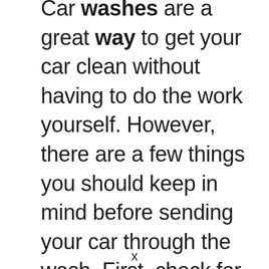Car washes are a great way to get your car clean without having to do the work yourself. However, there are a few things you should keep in mind before sending your car through the wash. First, check for loose items on the exterior of your car that could be damaged or lost during the wash process.
x